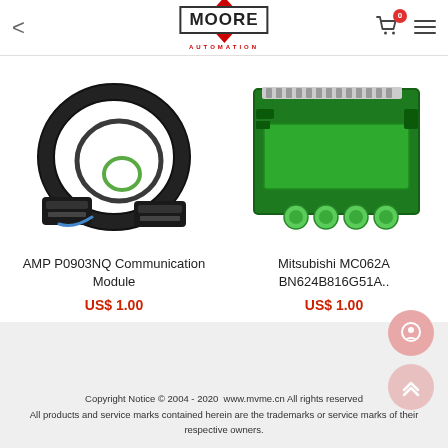Moore Automation
[Figure (photo): AMP P0903NQ Communication Module - black cable with connectors]
AMP P0903NQ Communication Module
US$ 1.00
[Figure (photo): Mitsubishi MC062A BN624B816G51A - green PCB circuit board]
Mitsubishi MC062A BN624B816G51A..
US$ 1.00
Copyright Notice © 2004 - 2020  www.mvme.cn All rights reserved
All products and service marks contained herein are the trademarks or service marks of their respective owners.